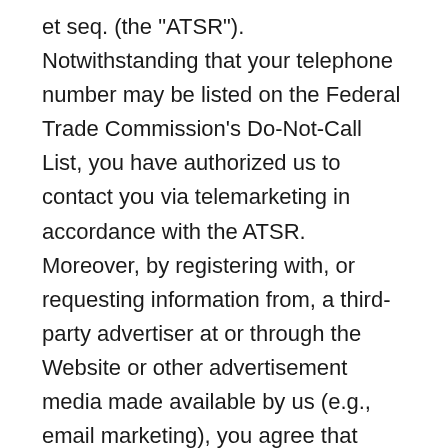et seq. (the "ATSR"). Notwithstanding that your telephone number may be listed on the Federal Trade Commission's Do-Not-Call List, you have authorized us to contact you via telemarketing in accordance with the ATSR. Moreover, by registering with, or requesting information from, a third-party advertiser at or through the Website or other advertisement media made available by us (e.g., email marketing), you agree that such action shall constitute a purchase, an inquiry and/or an application with the respective third-party advertiser for purposes of the ATSR and you may be contacted via email, direct mail and/or telemarketing by such third-party advertiser in accordance with the ATSR. We may use Personal Information to provide the services you've requested, including services that display customized